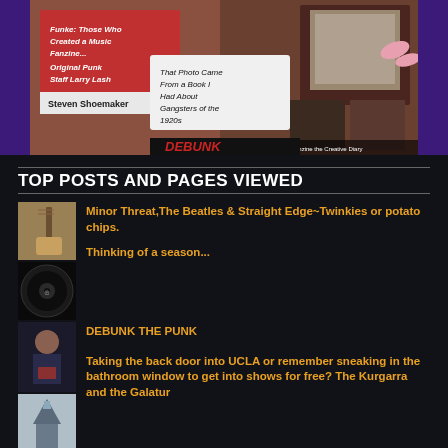[Figure (photo): Photo of a person holding up book/card pages with text overlays including 'Original Punk Staff Larry Lash', 'Steven Shoemaker', 'That photo came from a book I had about gangsters of the 1920s', and images of vintage photos. Purple sidebar borders visible.]
TOP POSTS AND PAGES VIEWED
[Figure (photo): Small thumbnail of guitar/instrument]
Minor Threat,The Beatles & Straight Edge~Twinkies or potato chips.
[Figure (photo): Small thumbnail of vinyl record]
Thinking of a season...
[Figure (photo): Small thumbnail of person holding item]
DEBUNK THE PUNK
[Figure (photo): Small thumbnail of church/building]
Taking the back door into UCLA or remember sneaking in the bathroom window to get into shows for free? The Kurgarra and the Galatur
[Figure (photo): Small thumbnail of stone/artifact]